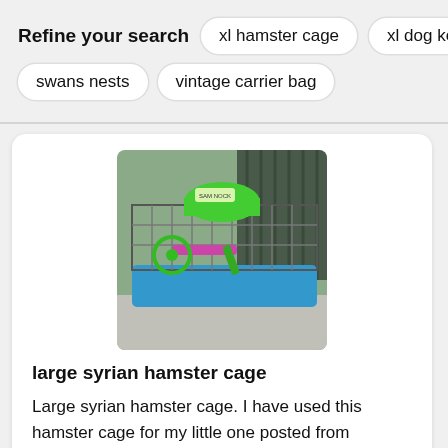Refine your search
xl hamster cage
xl dog kennel
swans nests
vintage carrier bag
[Figure (photo): A large hamster cage with blue base, green accessories, pink platforms and exercise wheel, photographed outdoors on a patio table]
large syrian hamster cage
Large syrian hamster cage. I have used this hamster cage for my little one posted from abergele note : we don't accept